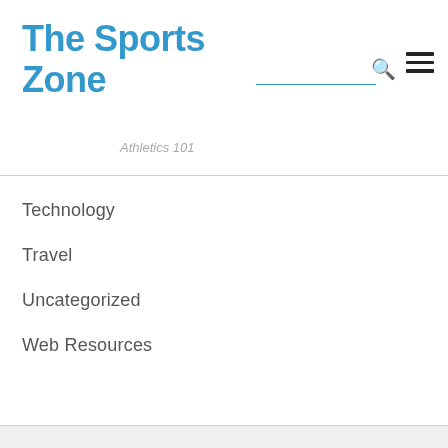The Sports Zone
Technology
Travel
Uncategorized
Web Resources